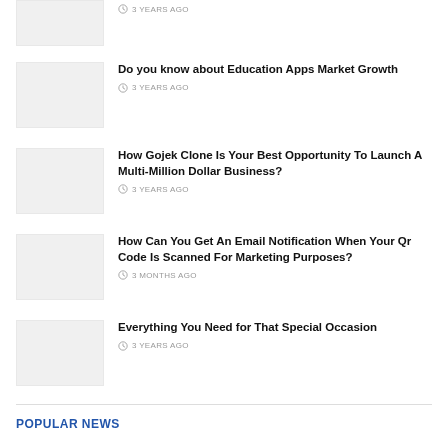3 YEARS AGO
Do you know about Education Apps Market Growth
3 YEARS AGO
How Gojek Clone Is Your Best Opportunity To Launch A Multi-Million Dollar Business?
3 YEARS AGO
How Can You Get An Email Notification When Your Qr Code Is Scanned For Marketing Purposes?
3 MONTHS AGO
Everything You Need for That Special Occasion
3 YEARS AGO
POPULAR NEWS